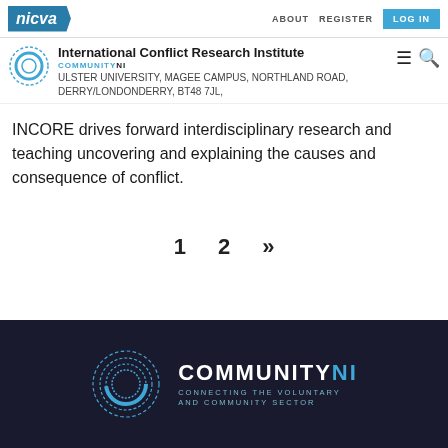NICVA | ABOUT | REGISTER | LOG IN
International Conflict Research Institute
COMMUNITY NI | ULSTER UNIVERSITY, MAGEE CAMPUS, NORTHLAND ROAD, DERRY/LONDONDERRY, BT48 7JL,
INCORE drives forward interdisciplinary research and teaching uncovering and explaining the causes and consequence of conflict.
1  2  »
[Figure (logo): CommunityNI logo - circular dotted ring with COMMUNITYNI text and tagline CONNECTING THE VOLUNTARY AND COMMUNITY SECTOR on dark background]